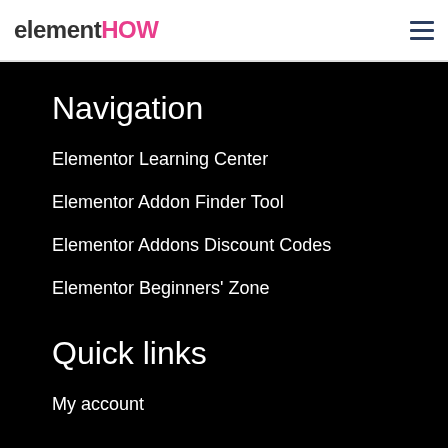elementHOW
Navigation
Elementor Learning Center
Elementor Addon Finder Tool
Elementor Addons Discount Codes
Elementor Beginners' Zone
Quick links
My account